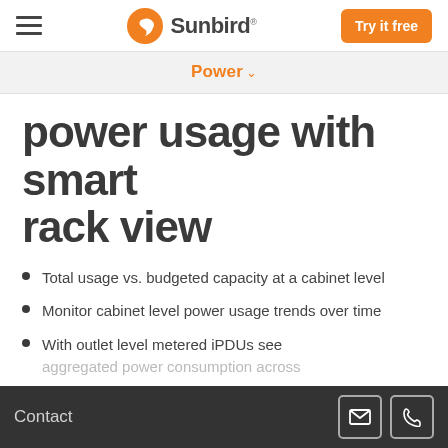Sunbird | Try it free
Power
power usage with smart rack view
Total usage vs. budgeted capacity at a cabinet level
Monitor cabinet level power usage trends over time
With outlet level metered iPDUs see aggregated power consumption across
Contact